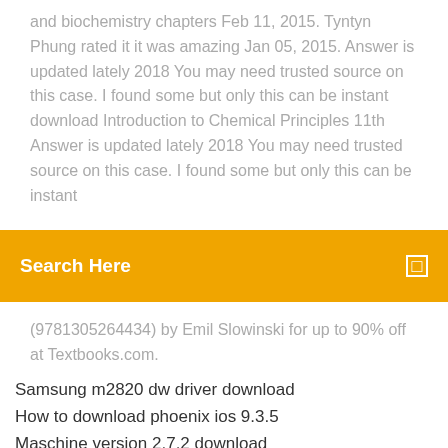and biochemistry chapters Feb 11, 2015. Tyntyn Phung rated it it was amazing Jan 05, 2015. Answer is updated lately 2018 You may need trusted source on this case. I found some but only this can be instant download Introduction to Chemical Principles 11th Answer is updated lately 2018 You may need trusted source on this case. I found some but only this can be instant
[Figure (screenshot): Orange search bar with text 'Search Here' and a small square icon on the right]
(9781305264434) by Emil Slowinski for up to 90% off at Textbooks.com.
Samsung m2820 dw driver download
How to download phoenix ios 9.3.5
Maschine version 2.7.2 download
Software to download same file from multiple source
Download files from local
Download list are not showing on chrome browser
Win 7 wan miniport x64 driver download